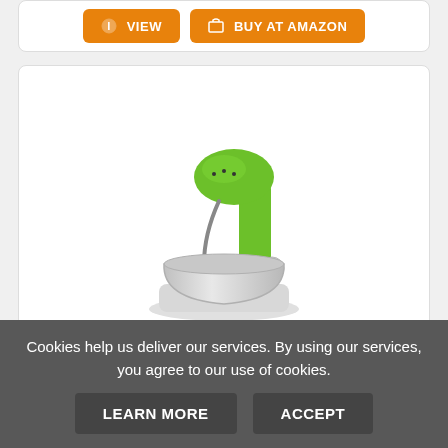[Figure (other): Two orange buttons: VIEW and BUY AT AMAZON]
[Figure (photo): Green Sencor STM3621GR 6 Speed Stand Mixer with stainless steel bowl and wire whisk attachment]
Sencor STM3621GR 6 Speed Stand Mixer wit...
only $256.65
Cookies help us deliver our services. By using our services, you agree to our use of cookies.
[Figure (other): Two dark buttons: LEARN MORE and ACCEPT]